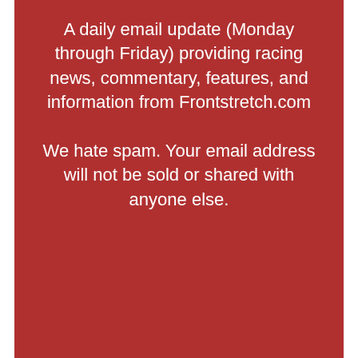A daily email update (Monday through Friday) providing racing news, commentary, features, and information from Frontstretch.com We hate spam. Your email address will not be sold or shared with anyone else.
[Figure (screenshot): Email subscription form with text input field labeled 'Enter your email address' and a gold 'SUBSCRIBE' button on a dark red background]
[Figure (infographic): BitLife advertisement banner with orange fire, cartoon character facepalming, 'FAIL' text, BitLife logo, and 'START A NEW LIFE' text on red background]